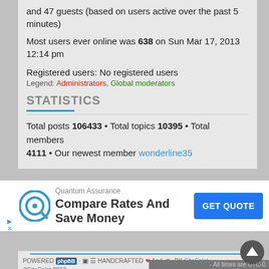and 47 guests (based on users active over the past 5 minutes)
Most users ever online was 638 on Sun Mar 17, 2013 12:14 pm
Registered users: No registered users
Legend: Administrators, Global moderators
STATISTICS
Total posts 106433 • Total topics 10395 • Total members 4111 • Our newest member wonderline35
[Figure (other): Quantum Assurance advertisement with logo, text 'Compare Rates And Save Money', and blue 'GET QUOTE' button]
POWERED phpBB · HANDCRAFTED And BY SiteSplat ©SiteSplat 2013
- All times are UTC-0